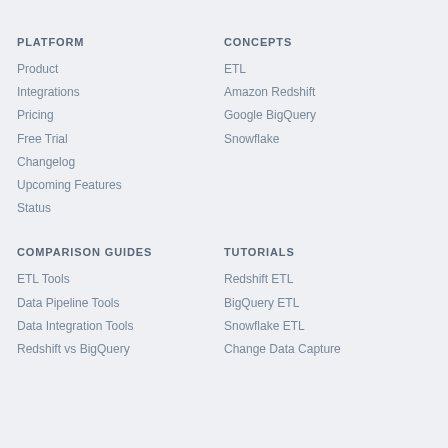PLATFORM
Product
Integrations
Pricing
Free Trial
Changelog
Upcoming Features
Status
CONCEPTS
ETL
Amazon Redshift
Google BigQuery
Snowflake
COMPARISON GUIDES
ETL Tools
Data Pipeline Tools
Data Integration Tools
Redshift vs BigQuery
TUTORIALS
Redshift ETL
BigQuery ETL
Snowflake ETL
Change Data Capture